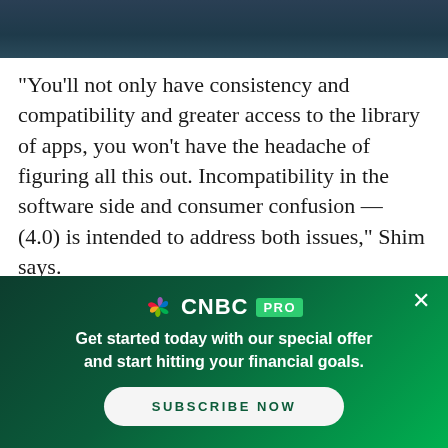"You'll not only have consistency and compatibility and greater access to the library of apps, you won't have the headache of figuring all this out. Incompatibility in the software side and consumer confusion — (4.0) is intended to address both issues," Shim says.
For example, smartphones and the Motorola Xoom tablet run on 4.0.
[Figure (other): CNBC PRO advertisement banner with dark green gradient background. Shows CNBC peacock logo, 'CNBC PRO' branding, tagline 'Get started today with our special offer and start hitting your financial goals.' and a 'SUBSCRIBE NOW' button. Has a close (X) button in top right corner.]